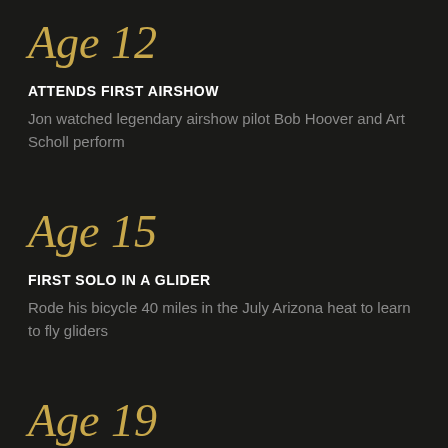Age 12
ATTENDS FIRST AIRSHOW
Jon watched legendary airshow pilot Bob Hoover and Art Scholl perform
Age 15
FIRST SOLO IN A GLIDER
Rode his bicycle 40 miles in the July Arizona heat to learn to fly gliders
Age 19
BOUGHT A PLANE - BECAME A PILOT